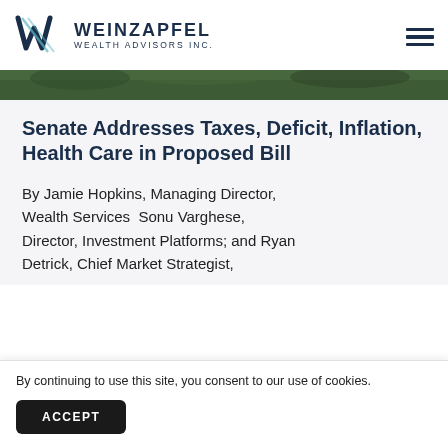Weinzapfel Wealth Advisors Inc.
[Figure (photo): Partial banner image showing green foliage/trees outdoors]
Senate Addresses Taxes, Deficit, Inflation, Health Care in Proposed Bill
By Jamie Hopkins, Managing Director, Wealth Services  Sonu Varghese, Director, Investment Platforms; and Ryan Detrick, Chief Market Strategist,
By continuing to use this site, you consent to our use of cookies.